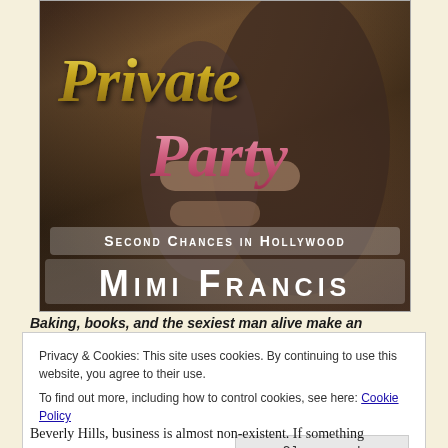[Figure (illustration): Book cover for 'Private Party' by Mimi Francis, part of the Second Chances in Hollywood series. Shows a couple embracing, man in dark suit, woman in black dress. Title 'Private' in gold italic script, 'Party' in pink italic script. Subtitle 'Second Chances in Hollywood' in white small-caps. Author name 'Mimi Francis' in large white small-caps at bottom.]
Baking, books, and the sexiest man alive make an
Privacy & Cookies: This site uses cookies. By continuing to use this website, you agree to their use.
To find out more, including how to control cookies, see here: Cookie Policy
Close and accept
Beverly Hills, business is almost non-existent. If something